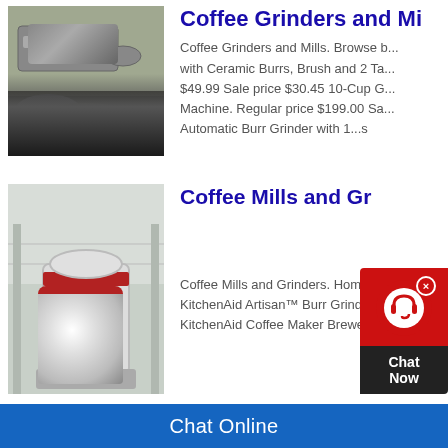[Figure (photo): Industrial machinery/conveyor with gravel or aggregate material being processed outdoors]
Coffee Grinders and Mi...
Coffee Grinders and Mills. Browse b... with Ceramic Burrs, Brush and 2 Ta... $49.99 Sale price $30.45 10-Cup G... Machine. Regular price $199.00 Sa... Automatic Burr Grinder with 1...s
[Figure (photo): Large industrial white grinding or milling machine inside a factory/warehouse]
Coffee Mills and Gr...
Coffee Mills and Grinders. Home » C... KitchenAid Artisan™ Burr Grinder. #... KitchenAid Coffee Maker Brewer. #5
[Figure (photo): Antique or old rusty industrial machinery/structure outdoors]
Antique Coffee Grinders... House
Antique Box Coffee Grinders. Large...
Chat Online